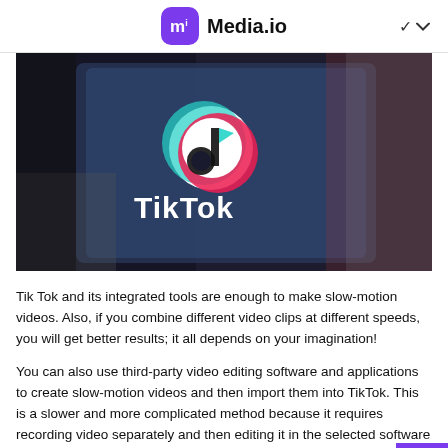Media.io
[Figure (photo): A hand holding a smartphone displaying the TikTok app logo and name on a dark background.]
Tik Tok and its integrated tools are enough to make slow-motion videos. Also, if you combine different video clips at different speeds, you will get better results; it all depends on your imagination!
You can also use third-party video editing software and applications to create slow-motion videos and then import them into TikTok. This is a slower and more complicated method because it requires recording video separately and then editing it in the selected software (since each software has its speed tool, you need to learn how to operate). And then